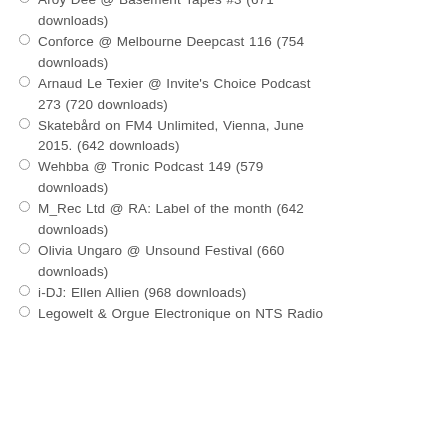Aroy Dee @ Basement Tapes #3 (671 downloads)
Conforce @ Melbourne Deepcast 116 (754 downloads)
Arnaud Le Texier @ Invite's Choice Podcast 273 (720 downloads)
Skatebård on FM4 Unlimited, Vienna, June 2015. (642 downloads)
Wehbba @ Tronic Podcast 149 (579 downloads)
M_Rec Ltd @ RA: Label of the month (642 downloads)
Olivia Ungaro @ Unsound Festival (660 downloads)
i-DJ: Ellen Allien (968 downloads)
Legowelt & Orgue Electronique on NTS Radio